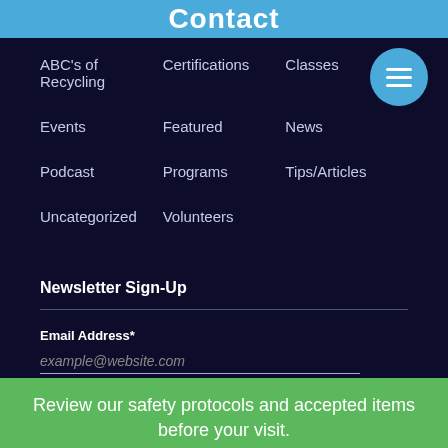Contact
ABC's of Recycling
Certifications
Classes
Events
Featured
News
Podcast
Programs
Tips/Articles
Uncategorized
Volunteers
Newsletter Sign-Up
Email Address*
example@website.com
Review our safety protocols and accepted items before your visit.